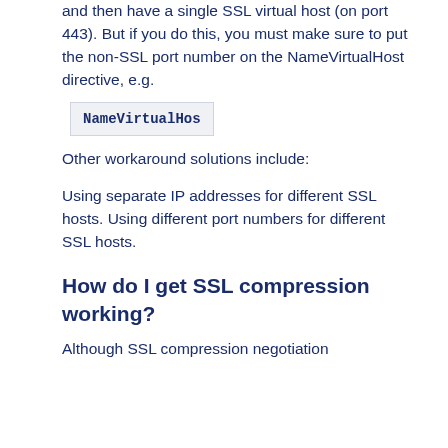and then have a single SSL virtual host (on port 443). But if you do this, you must make sure to put the non-SSL port number on the NameVirtualHost directive, e.g.
NameVirtualHos
Other workaround solutions include:
Using separate IP addresses for different SSL hosts. Using different port numbers for different SSL hosts.
How do I get SSL compression working?
Although SSL compression negotiation